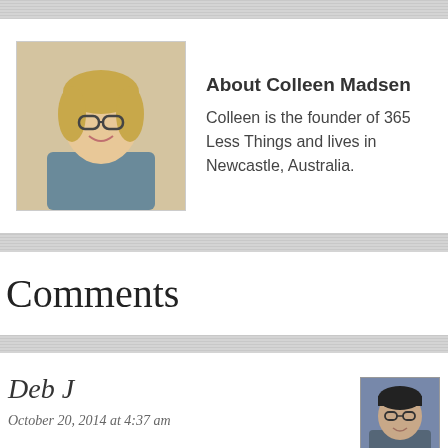[Figure (photo): Author avatar photo of Colleen Madsen, a woman with blonde hair and glasses, smiling]
About Colleen Madsen
Colleen is the founder of 365 Less Things and lives in Newcastle, Australia.
Comments
Deb J
October 20, 2014 at 4:37 am
[Figure (photo): Commenter avatar photo of Deb J, a woman with glasses]